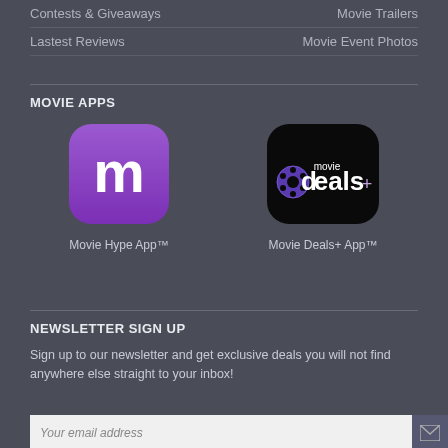Contests & Giveaways
Movie Trailers
Lastest Reviews
Movie Event Photos
MOVIE APPS
[Figure (logo): Movie Hype App logo - purple rounded square with white letter m]
Movie Hype App™
[Figure (logo): Movie Deals+ App logo - black rounded square with movie deals+ text and film reel graphic]
Movie Deals+ App™
NEWSLETTER SIGN UP
Sign up to our newsletter and get exclusive deals you will not find anywhere else straight to your inbox!
Your email address